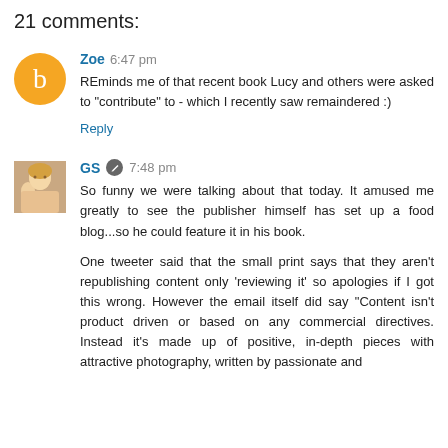21 comments:
Zoe 6:47 pm
REminds me of that recent book Lucy and others were asked to "contribute" to - which I recently saw remaindered :)
Reply
GS 7:48 pm
So funny we were talking about that today. It amused me greatly to see the publisher himself has set up a food blog...so he could feature it in his book.

One tweeter said that the small print says that they aren't republishing content only 'reviewing it' so apologies if I got this wrong. However the email itself did say "Content isn't product driven or based on any commercial directives. Instead it's made up of positive, in-depth pieces with attractive photography, written by passionate and